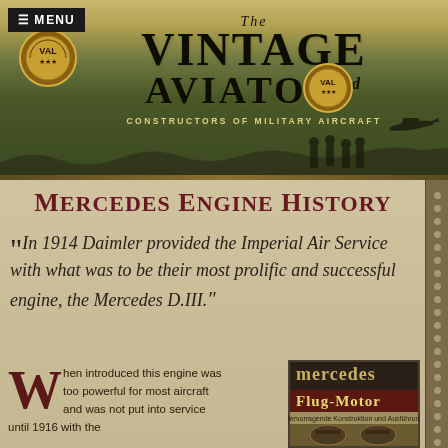The Vintage Aviator Ltd — Constructors of Military Aircraft
Mercedes Engine History
“In 1914 Daimler provided the Imperial Air Service with what was to be their most prolific and successful engine, the Mercedes D.III.”
When introduced this engine was too powerful for most aircraft and was not put into service until 1916 with the
[Figure (photo): Cover of a Mercedes Flug-Motor booklet showing engine imagery and German text 'Hervorragende Konstruktion und Ausführung']